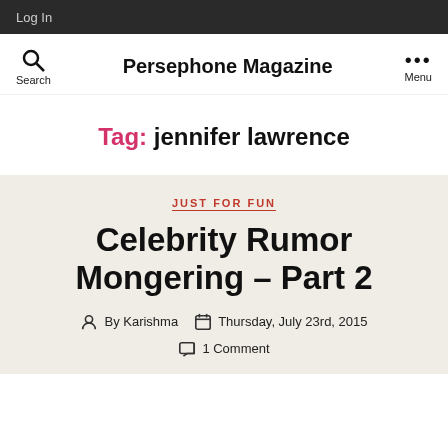Log In
Persephone Magazine
Tag: jennifer lawrence
JUST FOR FUN
Celebrity Rumor Mongering – Part 2
By Karishma   Thursday, July 23rd, 2015
1 Comment